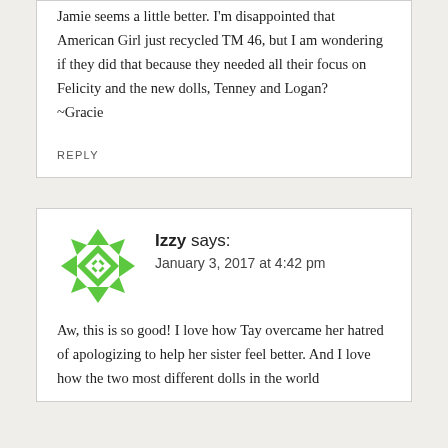Jamie seems a little better. I'm disappointed that American Girl just recycled TM 46, but I am wondering if they did that because they needed all their focus on Felicity and the new dolls, Tenney and Logan?
~Gracie
REPLY
Izzy says:
January 3, 2017 at 4:42 pm
Aw, this is so good! I love how Tay overcame her hatred of apologizing to help her sister feel better. And I love how the two most different dolls in the world